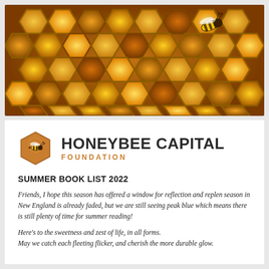[Figure (photo): Close-up photograph of honeycomb cells filled with honey in shades of gold, amber, and yellow, with a honeybee visible in the upper right area of the frame.]
[Figure (logo): Honeybee Capital Foundation logo: orange hexagon with honeybee illustration on left, bold dark text 'HONEYBEE CAPITAL' and orange 'FOUNDATION' subtitle on right.]
SUMMER BOOK LIST 2022
Friends, I hope this season has offered a window for reflection and replen season in New England is already faded, but we are still seeing peak blue which means there is still plenty of time for summer reading!
Here's to the sweetness and zest of life, in all forms.
May we catch each fleeting flicker, and cherish the more durable glow.